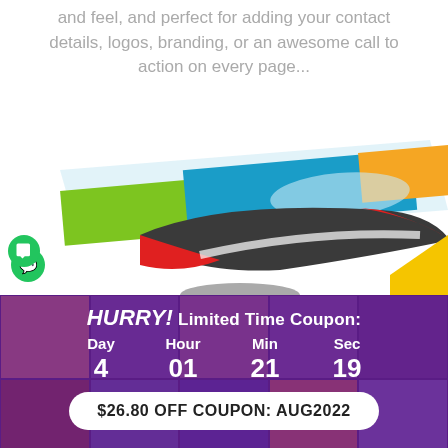and feel, and perfect for adding your contact details, logos, branding, or an awesome call to action on every page...
[Figure (illustration): Decorative banner/header design elements: colorful rectangular shapes (green, blue, orange) and a dark swoosh/wave shape in red and dark grey, with a yellow triangle partially visible. A small green chat bubble icon is on the left.]
HURRY! Limited Time Coupon:
Day 4  Hour 01  Min 21  Sec 19
$26.80 OFF COUPON: AUG2022